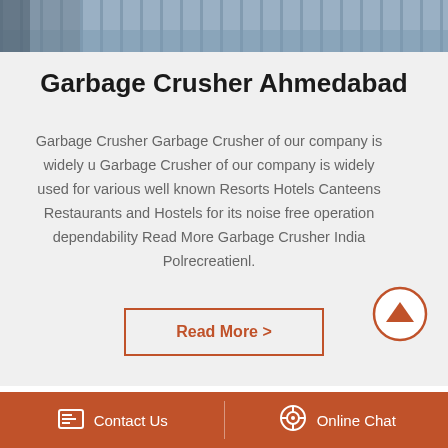[Figure (photo): Top partial image of machinery or vehicle]
Garbage Crusher Ahmedabad
Garbage Crusher Garbage Crusher of our company is widely u Garbage Crusher of our company is widely used for various well known Resorts Hotels Canteens Restaurants and Hostels for its noise free operation dependability Read More Garbage Crusher India Polrecreatienl.
Read More >
[Figure (photo): Bottom partial image of industrial equipment with red component]
Contact Us   Online Chat